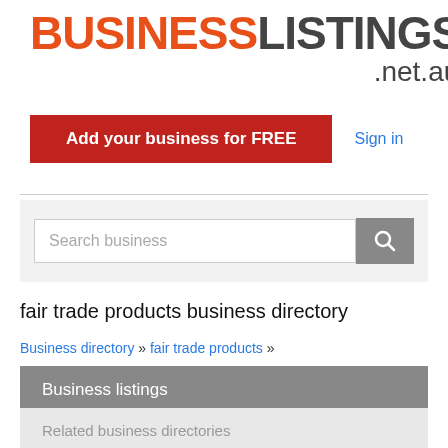[Figure (logo): BusinessListings .net.au logo with BUSINESS in orange and LISTINGS in dark gray, bold uppercase, with .net.au below]
Add your business for FREE
Sign in
Search business
fair trade products business directory
Business directory » fair trade products »
Business listings
Related business directories
Isha Fair Trade
fair trade products in QLD   Ph: +61 424 058 981